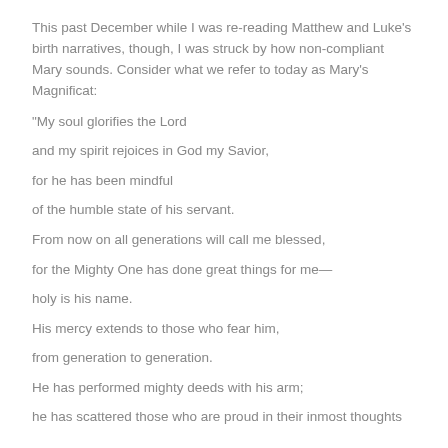This past December while I was re-reading Matthew and Luke's birth narratives, though, I was struck by how non-compliant Mary sounds. Consider what we refer to today as Mary's Magnificat:
“My soul glorifies the Lord
and my spirit rejoices in God my Savior,
for he has been mindful
of the humble state of his servant.
From now on all generations will call me blessed,
for the Mighty One has done great things for me—
holy is his name.
His mercy extends to those who fear him,
from generation to generation.
He has performed mighty deeds with his arm;
he has scattered those who are proud in their inmost thoughts